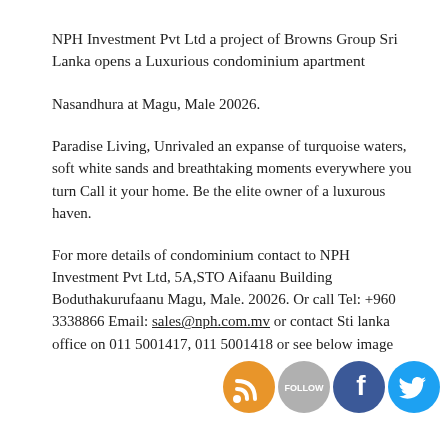NPH Investment Pvt Ltd a project of Browns Group Sri Lanka opens a Luxurious condominium apartment
Nasandhura at Magu, Male 20026.
Paradise Living, Unrivaled an expanse of turquoise waters, soft white sands and breathtaking moments everywhere you turn Call it your home. Be the elite owner of a luxurous haven.
For more details of condominium contact to NPH Investment Pvt Ltd, 5A,STO Aifaanu Building Boduthakurufaanu Magu, Male. 20026. Or call Tel: +960 3338866 Email: sales@nph.com.mv or contact Sti lanka office on 011 5001417, 011 5001418 or see below image
[Figure (other): Social media icons: RSS feed (orange), Follow (gray), Facebook (blue), Twitter (blue)]